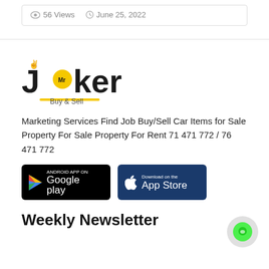56 Views   June 25, 2022
[Figure (logo): Mr Joker Buy & Sell logo — stylized text 'JOKER' with a yellow circle containing 'Mr' as the letter O, and a yellow underline with 'Buy & Sell' text]
Marketing Services Find Job Buy/Sell Car Items for Sale Property For Sale Property For Rent 71 471 772 / 76 471 772
[Figure (other): Google Play store download button (black background)]
[Figure (other): App Store download button (dark blue background)]
Weekly Newsletter